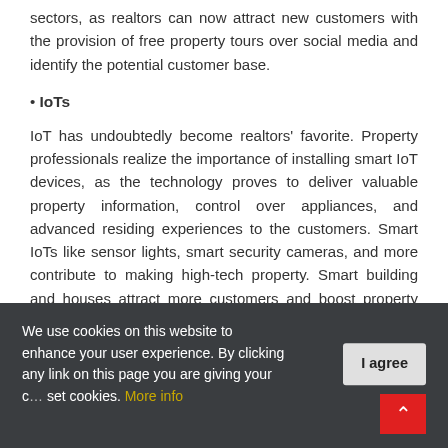sectors, as realtors can now attract new customers with the provision of free property tours over social media and identify the potential customer base.
• IoTs
IoT has undoubtedly become realtors' favorite. Property professionals realize the importance of installing smart IoT devices, as the technology proves to deliver valuable property information, control over appliances, and advanced residing experiences to the customers. Smart IoTs like sensor lights, smart security cameras, and more contribute to making high-tech property. Smart building and houses attract more customers and boost property business revenue.
As technology promises numerous benefits to the
We use cookies on this website to enhance your user experience. By clicking any link on this page you are giving your c... set cookies. More info